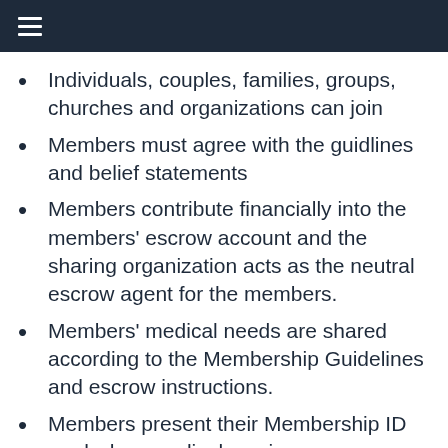≡
Individuals, couples, families, groups, churches and organizations can join
Members must agree with the guidlines and belief statements
Members contribute financially into the members' escrow account and the sharing organization acts as the neutral escrow agent for the members.
Members' medical needs are shared according to the Membership Guidelines and escrow instructions.
Members present their Membership ID card when medical services are received and the provider submits the medical needs.